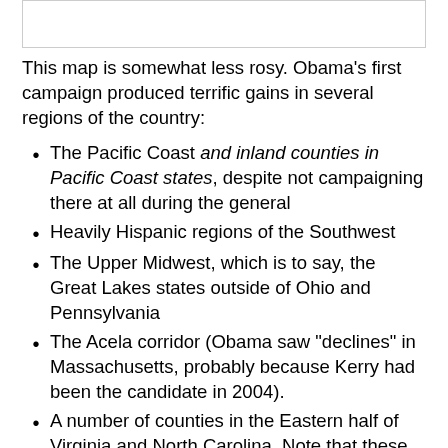[Figure (other): Partial map image shown at top of page, cropped]
This map is somewhat less rosy. Obama's first campaign produced terrific gains in several regions of the country:
The Pacific Coast and inland counties in Pacific Coast states, despite not campaigning there at all during the general
Heavily Hispanic regions of the Southwest
The Upper Midwest, which is to say, the Great Lakes states outside of Ohio and Pennsylvania
The Acela corridor (Obama saw "declines" in Massachusetts, probably because Kerry had been the candidate in 2004).
A number of counties in the Eastern half of Virginia and North Carolina. Note that these gains extend beyond the former tobacco plantation counties that have fairly large African-American populations.
Counties with large African-American populations in the Deep South